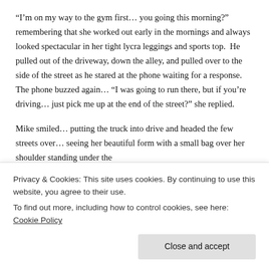“I’m on my way to the gym first… you going this morning?” remembering that she worked out early in the mornings and always looked spectacular in her tight lycra leggings and sports top.  He pulled out of the driveway, down the alley, and pulled over to the side of the street as he stared at the phone waiting for a response.  The phone buzzed again… “I was going to run there, but if you’re driving… just pick me up at the end of the street?” she replied.
Mike smiled… putting the truck into drive and headed the few streets over… seeing her beautiful form with a small bag over her shoulder standing under the
closing the door.
Privacy & Cookies: This site uses cookies. By continuing to use this website, you agree to their use.
To find out more, including how to control cookies, see here: Cookie Policy
Close and accept